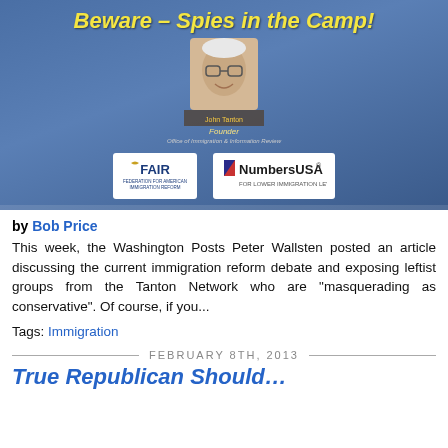[Figure (infographic): Banner image with blue gradient background, yellow italic title 'Beware – Spies in the Camp!', a photo of John Tanton labeled as Founder, logos for FAIR and NumbersUSA, and Center for Immigration Studies logo with tagline 'Low-Immigration Pro-immigrant']
by Bob Price
This week, the Washington Posts Peter Wallsten posted an article discussing the current immigration reform debate and exposing leftist groups from the Tanton Network who are "masquerading as conservative". Of course, if you...
Tags: Immigration
FEBRUARY 8TH, 2013